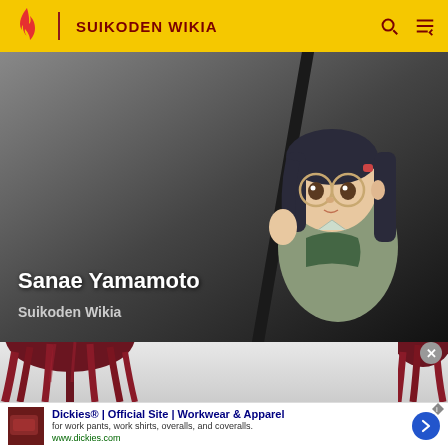SUIKODEN WIKIA
[Figure (illustration): Anime-style illustration of Sanae Yamamoto, a girl with dark hair, round glasses, wearing a grey-green outfit, holding a dark staff/pole diagonally. Background gradient from grey to black.]
Sanae Yamamoto
Suikoden Wikia
[Figure (illustration): Partial view of an anime character with dark red/maroon hair, shown from above, on a light grey background. Another partial figure visible at right edge.]
Dickies® | Official Site | Workwear & Apparel
for work pants, work shirts, overalls, and coveralls.
www.dickies.com